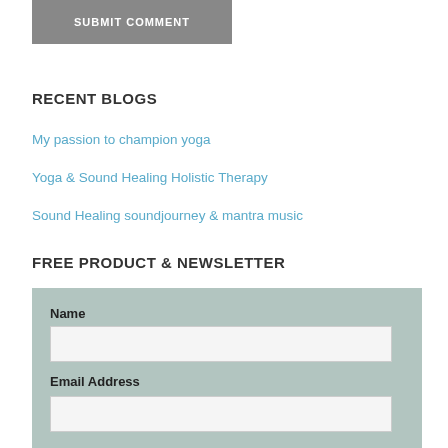SUBMIT COMMENT
RECENT BLOGS
My passion to champion yoga
Yoga & Sound Healing Holistic Therapy
Sound Healing soundjourney & mantra music
FREE PRODUCT & NEWSLETTER
Name
Email Address